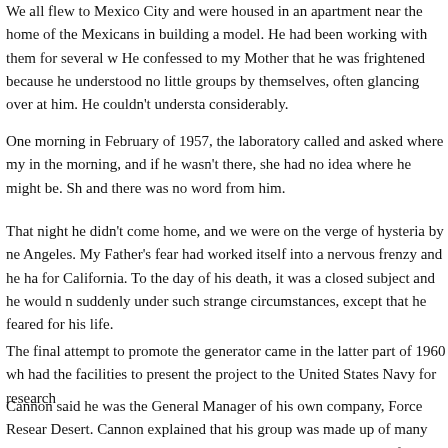We all flew to Mexico City and were housed in an apartment near the home of the Mexicans in building a model. He had been working with them for several weeks. He confessed to my Mother that he was frightened because he understood no little groups by themselves, often glancing over at him. He couldn't understand considerably.
One morning in February of 1957, the laboratory called and asked where my in the morning, and if he wasn't there, she had no idea where he might be. She and there was no word from him.
That night he didn't come home, and we were on the verge of hysteria by ne Angeles. My Father's fear had worked itself into a nervous frenzy and he had for California. To the day of his death, it was a closed subject and he would n suddenly under such strange circumstances, except that he feared for his life.
The final attempt to promote the generator came in the latter part of 1960 wh had the facilities to present the project to the United States Navy for research
Cannon said he was the General Manager of his own company, Force Resear Desert. Cannon explained that his group was made up of many dedicated sci knowledge to Force Research projects. The range of experimentation covere